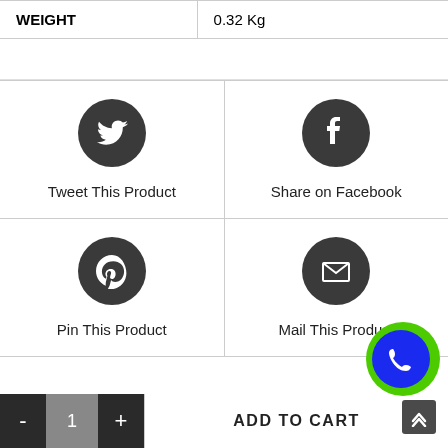| WEIGHT |  |
| --- | --- |
| WEIGHT | 0.32 Kg |
[Figure (infographic): Social sharing buttons grid: Twitter (Tweet This Product), Facebook (Share on Facebook), Pinterest (Pin This Product), Email (Mail This Product)]
Tweet This Product
Share on Facebook
Pin This Product
Mail This Product
ADD TO CART
1